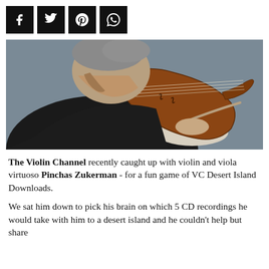[Figure (other): Row of four social media share buttons (Facebook, Twitter, Pinterest, WhatsApp) as white icons on black square backgrounds.]
[Figure (photo): Close-up photograph of Pinchas Zukerman, a grey-haired man in a dark suit playing the violin, bowing his head intensely over the instrument against a grey background.]
The Violin Channel recently caught up with violin and viola virtuoso Pinchas Zukerman - for a fun game of VC Desert Island Downloads.
We sat him down to pick his brain on which 5 CD recordings he would take with him to a desert island — and he couldn't help but share...